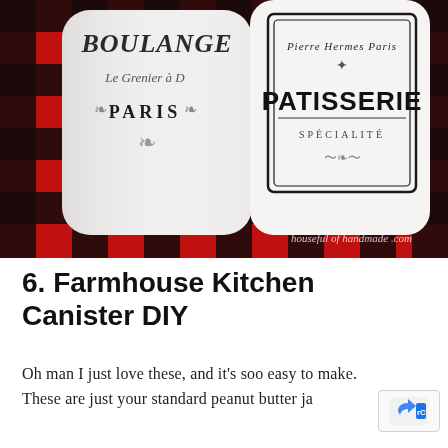[Figure (photo): Two white painted farmhouse-style canisters with French typography labels (BOULANGERIE / Le Grenier a Paris and Pierre Hermes Paris PATISSERIE SPECIALITE), sitting on a red and black buffalo plaid fabric. Watermark reads 'houseful of handmade .com'.]
6. Farmhouse Kitchen Canister DIY
Oh man I just love these, and it's soo easy to make. These are just your standard peanut butter ja